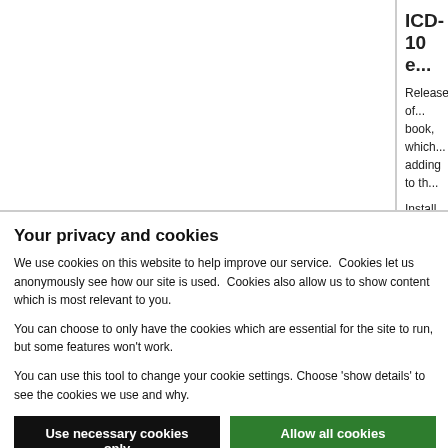ICD-10 e...
Releases of... book, which... adding to th...
Install the la... downloading...
Instructions... be found in...
Your privacy and cookies
We use cookies on this website to help improve our service.  Cookies let us anonymously see how our site is used.  Cookies also allow us to show content which is most relevant to you.
You can choose to only have the cookies which are essential for the site to run, but some features won't work.
You can use this tool to change your cookie settings. Choose 'show details' to see the cookies we use and why.
Use necessary cookies only
Allow all cookies
Show details ∨